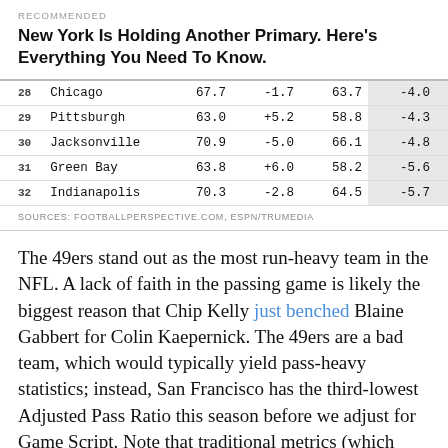RECOMMENDED
New York Is Holding Another Primary. Here's Everything You Need To Know.
|  |  |  |  |  |  |
| --- | --- | --- | --- | --- | --- |
| 28 | Chicago | 67.7 | -1.7 | 63.7 | -4.0 |
| 29 | Pittsburgh | 63.0 | +5.2 | 58.8 | -4.3 |
| 30 | Jacksonville | 70.9 | -5.0 | 66.1 | -4.8 |
| 31 | Green Bay | 63.8 | +6.0 | 58.2 | -5.6 |
| 32 | Indianapolis | 70.3 | -2.8 | 64.5 | -5.7 |
SOURCES: FOOTBALLPERSPECTIVE.COM, ESPN/TRUMEDIA
The 49ers stand out as the most run-heavy team in the NFL. A lack of faith in the passing game is likely the biggest reason that Chip Kelly just benched Blaine Gabbert for Colin Kaepernick. The 49ers are a bad team, which would typically yield pass-heavy statistics; instead, San Francisco has the third-lowest Adjusted Pass Ratio this season before we adjust for Game Script. Note that traditional metrics (which